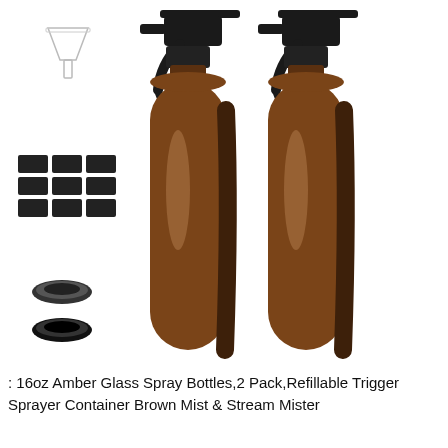[Figure (photo): Product photo showing two amber glass spray bottles with black trigger sprayer heads, a clear plastic funnel in the upper left, a set of black chalkboard labels in the middle left, and two round black cap inserts at the bottom left. The bottles are large, brown/amber colored glass with shiny reflective highlights, set against a white background.]
: 16oz Amber Glass Spray Bottles,2 Pack,Refillable Trigger Sprayer Container Brown Mist & Stream Mister